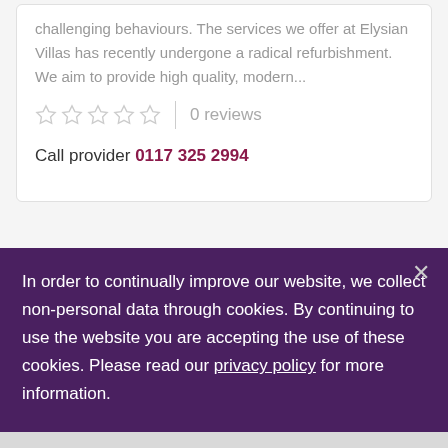challenging behaviours. The services we offer at Elysian Villas has recently undergone a radical refurbishment. We aim to provide high quality, modern...
0 reviews
Call provider 0117 325 2994
In order to continually improve our website, we collect non-personal data through cookies. By continuing to use the website you are accepting the use of these cookies. Please read our privacy policy for more information.